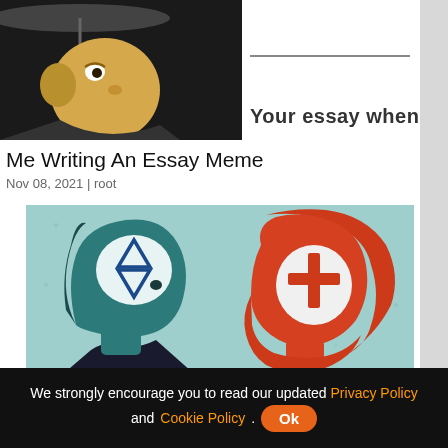[Figure (photo): Screenshot of a webpage showing a meme article. Top portion shows a cartoon character (Toad from Simpsons-style) and partially visible text 'Your essay when'. Below is the title 'Me Writing An Essay Meme' with date Nov 08, 2021 and author root. The main image shows two illustrated head silhouettes facing each other: a teal/blue head with a Star of David in the brain area, and a red head with a Christian cross in the brain area, on a light blue background. A cookie consent bar is visible at the bottom.]
Me Writing An Essay Meme
Nov 08, 2021 | root
[Figure (illustration): Two stylized head silhouettes facing each other on a teal/light blue textured background. Left head is dark teal/blue with a white brain area containing a blue Star of David. Right head is red/orange with a white brain area containing a red Christian cross. The left figure wears a dark suit collar.]
We strongly encourage you to read our updated Privacy Policy and Cookie Policy.